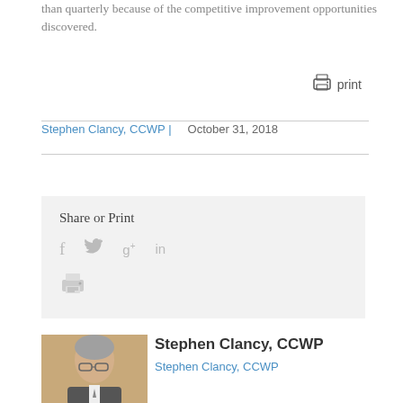than quarterly because of the competitive improvement opportunities discovered.
print
Stephen Clancy, CCWP |   October 31, 2018
Share or Print
[Figure (infographic): Social sharing icons: Facebook (f), Twitter (bird), Google+ (g+), LinkedIn (in), and a print icon below]
[Figure (photo): Headshot photo of Stephen Clancy, CCWP — middle-aged man with glasses, gray hair, wearing a suit, against a warm brown/gold background]
Stephen Clancy, CCWP
Stephen Clancy, CCWP